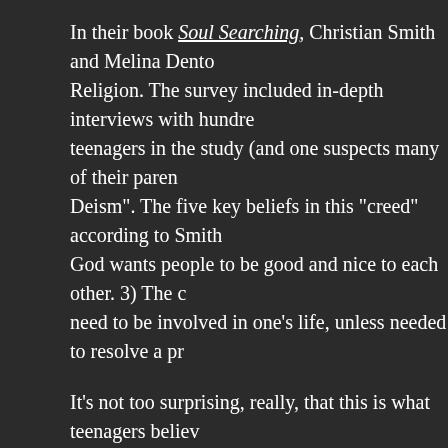In their book Soul Searching, Christian Smith and Melina Dent… Religion. The survey included in-depth interviews with hundreds of teenagers in the study (and one suspects many of their parents… Deism". The five key beliefs in this "creed" according to Smith… God wants people to be good and nice to each other. 3) The central… need to be involved in one's life, unless needed to resolve a pr…
It's not too surprising, really, that this is what teenagers believe… may have other teachings alongside this, for instance, "you ne… The core teaching at many churches, on a week-in, week-out b… good. God wants you to be happy. And God doesn't need to in… are a faithful believer, you'll go to heaven. As Smith and Dento…
This is not a religion of repentance from sin, of kee… steadfastly saying one's prayers, of faithfully obse… God's love and grace, of spending oneself in gratit… appears to be the actual dominant religion among…